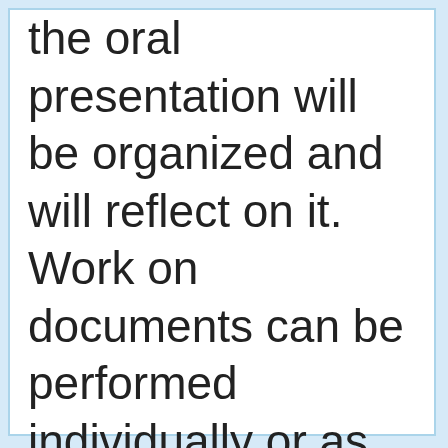the oral presentation will be organized and will reflect on it. Work on documents can be performed individually or as group work. DISCUSSION: